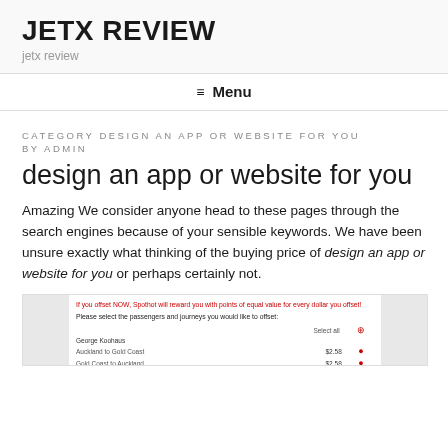JETX REVIEW
jetx review
≡ Menu
CATEGORY DESIGN AN APP OR WEBSITE FOR YOU BY ADMIN
design an app or website for you
Amazing We consider anyone head to these pages through the search engines because of your sensible keywords. We have been unsure exactly what thinking of the buying price of design an app or website for you or perhaps certainly not.
[Figure (screenshot): Screenshot of a booking/offset UI showing passenger journey selection with prices in NZD ($2.58) and red dot indicators, plus a 'Select all' option.]